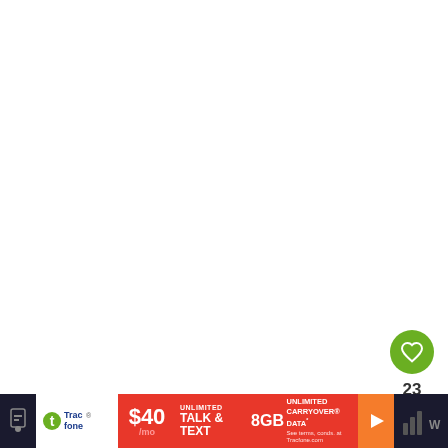[Figure (screenshot): White blank main content area of a webpage/app]
[Figure (infographic): Green circular like/heart button with heart icon showing 23 likes, and a white circular share button below it]
Hi everybody! My name is Martina and I live in the
[Figure (infographic): Tracfone advertisement banner: $40/mo Unlimited Talk & Text, 8GB Unlimited Carryover Data]